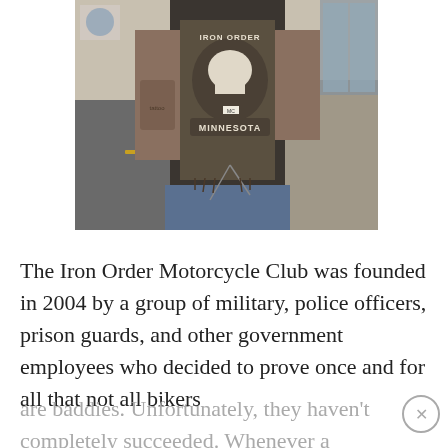[Figure (photo): A person photographed from behind wearing a motorcycle club vest/cut with patches reading 'IRON ORDER MC' and 'MINNESOTA'. The person has tattoos on their arms and is wearing jeans. They are standing on a sidewalk/parking lot area.]
The Iron Order Motorcycle Club was founded in 2004 by a group of military, police officers, prison guards, and other government employees who decided to prove once and for all that not all bikers are baddies. Unfortunately, they haven't completely succeeded. Whenever a